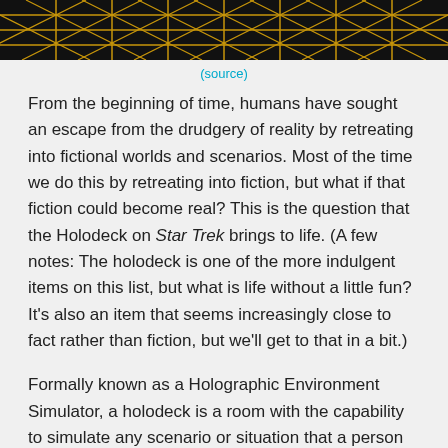[Figure (photo): Top portion of a holodeck grid pattern — black background with gold/yellow diagonal grid lines forming a geometric lattice pattern, cropped to a horizontal strip.]
(source)
From the beginning of time, humans have sought an escape from the drudgery of reality by retreating into fictional worlds and scenarios. Most of the time we do this by retreating into fiction, but what if that fiction could become real? This is the question that the Holodeck on Star Trek brings to life. (A few notes: The holodeck is one of the more indulgent items on this list, but what is life without a little fun? It's also an item that seems increasingly close to fact rather than fiction, but we'll get to that in a bit.)
Formally known as a Holographic Environment Simulator, a holodeck is a room with the capability to simulate any scenario or situation that a person so desires. It's been used as a plot device since Star Trek: The Next Generation